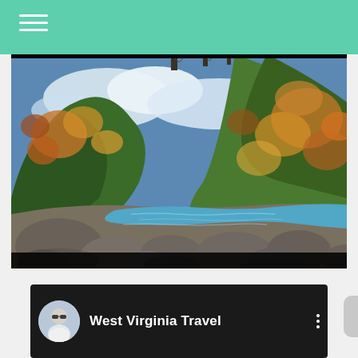Navigation menu header bar with hamburger icon
[Figure (photo): Landscape photo of New River Gorge showing a steel arch bridge spanning over a river gorge with autumn foliage on hillsides and rocky riverbed in the foreground with blue rushing water.]
[Figure (screenshot): YouTube channel panel showing 'West Virginia Travel' channel with user avatar (man with sunglasses) and three-dot menu icon on dark background.]